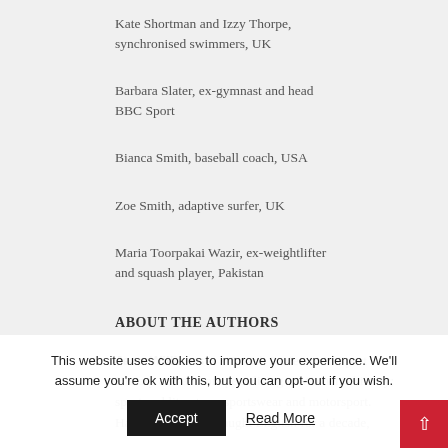Kate Shortman and Izzy Thorpe, synchronised swimmers, UK
Barbara Slater, ex-gymnast and head BBC Sport
Bianca Smith, baseball coach, USA
Zoe Smith, adaptive surfer, UK
Maria Toorpakai Wazir, ex-weightlifter and squash player, Pakistan
ABOUT THE AUTHORS
Jean Williams is a British Professor in Sport History and author specialising in Women's history; sport and literature; sportswear and motorsport. Having previously taught English for a decade,
This website uses cookies to improve your experience. We'll assume you're ok with this, but you can opt-out if you wish.